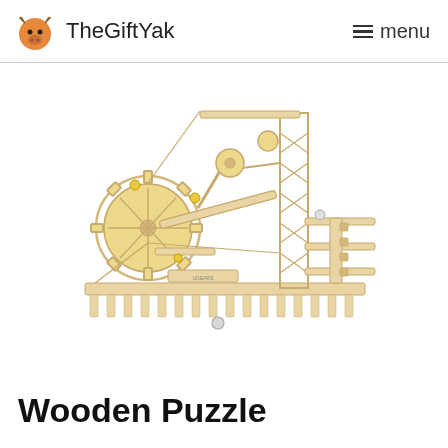TheGiftYak  menu
[Figure (photo): A wooden puzzle mechanical model featuring gears, a marble run track, and intricate interlocking laser-cut wood pieces, photographed on a white background with a small steel ball in front.]
Wooden Puzzle